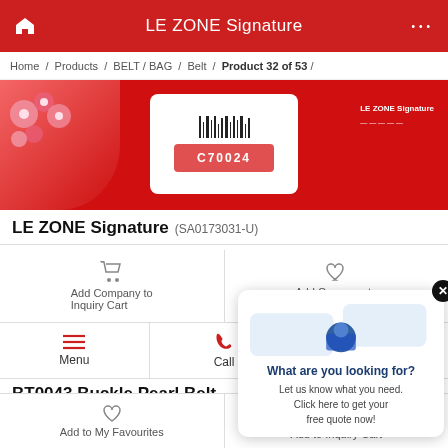LE ZONE Signature
Home / Products / BELT / BAG / Belt / Product 32 of 53 /
[Figure (screenshot): Red promotional banner with white barcode box in center, floral decorations on left, text on right]
LE ZONE Signature (SA0173031-U)
Add Company to Inquiry Cart
Add Company to My Favourite
Menu
Call
BT0043 Buckle Pearl Belt
05-Oct-2021
What are you looking for? Let us know what you need. Click here to get your free quote now!
Add to My Favourites
Add to Inquiry Cart